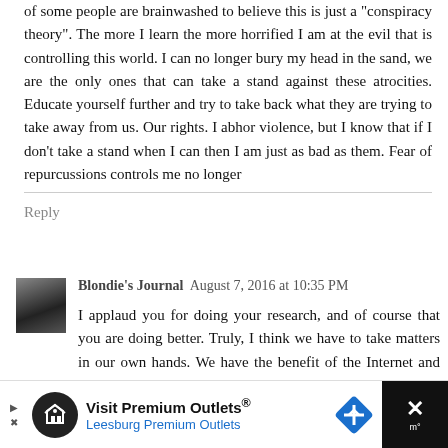of some people are brainwashed to believe this is just a "conspiracy theory". The more I learn the more horrified I am at the evil that is controlling this world. I can no longer bury my head in the sand, we are the only ones that can take a stand against these atrocities. Educate yourself further and try to take back what they are trying to take away from us. Our rights. I abhor violence, but I know that if I don't take a stand when I can then I am just as bad as them. Fear of repurcussions controls me no longer
Reply
Blondie's Journal  August 7, 2016 at 10:35 PM
I applaud you for doing your research, and of course that you are doing better. Truly, I think we have to take matters in our own hands. We have the benefit of the Internet and like you, when I'm prescribed a medication I always Google and read up on it.
[Figure (infographic): Advertisement banner: Visit Premium Outlets® / Leesburg Premium Outlets with logo icons]